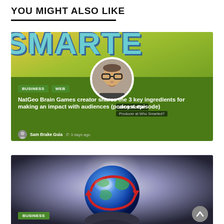YOU MIGHT ALSO LIKE
[Figure (photo): Article card: NatGeo Brain Games creator Jerry Kolber podcast episode. Green background with 'SMARTE' text graphic, circular avatar photo of man with glasses, BUSINESS and WEB tags, article title and author Sam Brake Guia, 3 days ago.]
[Figure (photo): Article card: Second article card with globe/brain illustration on dark background, BUSINESS tag, scroll-to-top button visible.]